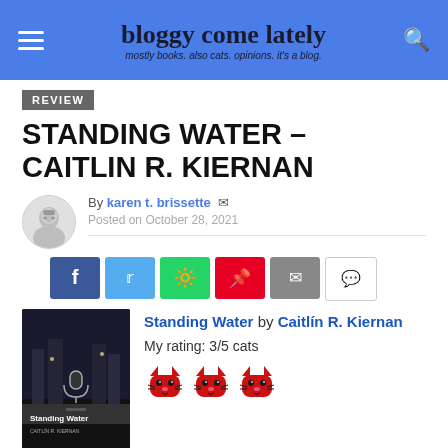bloggy come lately — mostly books. also cats. opinions. it's a blog.
REVIEW
STANDING WATER – CAITLIN R. KIERNAN
By karen t. brissette
Posted on October 28, 2021
[Figure (infographic): Social share buttons: Facebook (blue), Twitter (light blue), WhatsApp (green), Pinterest (red), Email (gray), Comment (white/gray outline)]
[Figure (photo): Book cover of Standing Water by Caitlin R. Kiernan — dark urban street scene at night with a microphone icon]
Standing Water by Caitlín R. Kiernan
My rating: 3/5 cats
[Figure (illustration): Three red cat face emoji icons representing a 3/5 cat rating]
SPOOKTOBER DAY TWENTY-EIGHT